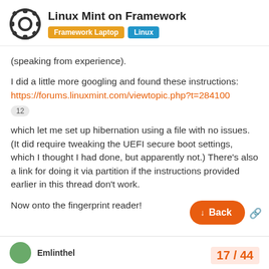Linux Mint on Framework | Framework Laptop | Linux
(speaking from experience).
I did a little more googling and found these instructions: https://forums.linuxmint.com/viewtopic.php?t=284100
12
which let me set up hibernation using a file with no issues. (It did require tweaking the UEFI secure boot settings, which I thought I had done, but apparently not.) There’s also a link for doing it via partition if the instructions provided earlier in this thread don’t work.
Now onto the fingerprint reader!
Emlinthel | 17 / 44